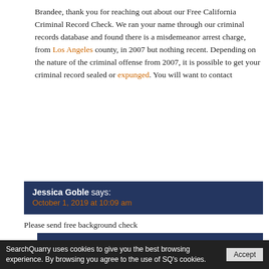Brandee, thank you for reaching out about our Free California Criminal Record Check. We ran your name through our criminal records database and found there is a misdemeanor arrest charge, from Los Angeles county, in 2007 but nothing recent. Depending on the nature of the criminal offense from 2007, it is possible to get your criminal record sealed or expunged. You will want to contact
Jessica Goble says: October 1, 2019 at 10:09 am
Please send free background check
squarryadministrator says: October 1, 2019 at 12:04 pm
Jessica, we ran a free California criminal record check for you and found multiple results for people with your first
SearchQuarry uses cookies to give you the best browsing experience. By browsing you agree to the use of SQ's cookies. Accept